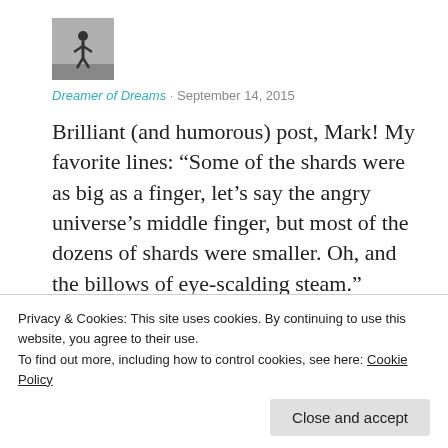[Figure (photo): Small black and white avatar image showing a silhouetted figure]
Dreamer of Dreams · September 14, 2015
Brilliant (and humorous) post, Mark! My favorite lines: “Some of the shards were as big as a finger, let’s say the angry universe’s middle finger, but most of the dozens of shards were smaller. Oh, and the billows of eye-scalding steam.”
Privacy & Cookies: This site uses cookies. By continuing to use this website, you agree to their use.
To find out more, including how to control cookies, see here: Cookie Policy
Close and accept